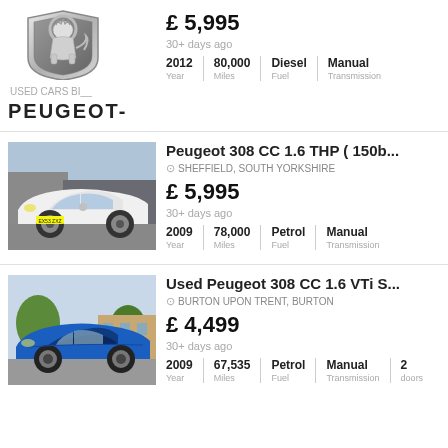[Figure (logo): Peugeot lion logo and PEUGEOT brand name text]
£ 5,995
30+ days ago
2012 | 80,000 | Diesel | Manual
Year | Miles | Fuel | Transmission
[Figure (photo): White Peugeot 308 CC car photo]
Peugeot 308 CC 1.6 THP ( 150b...
SHEFFIELD, SOUTH YORKSHIRE
£ 5,995
30+ days ago
2009 | 78,000 | Petrol | Manual
Year | Miles | Fuel | Transmission
[Figure (photo): Blue Peugeot 308 CC convertible car photo]
Used Peugeot 308 CC 1.6 VTi S...
BURTON UPON TRENT, BURTON
£ 4,499
30+ days ago
2009 | 67,535 | Petrol | Manual | 2
Year | Miles | Fuel | Transmission | doors